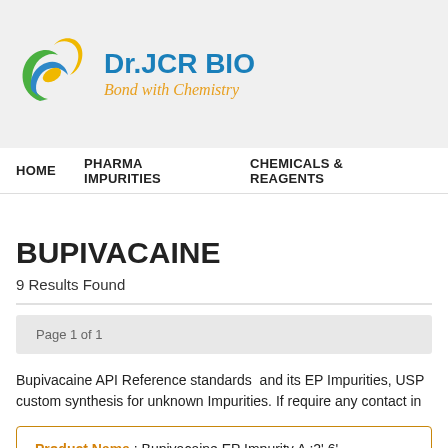[Figure (logo): Dr.JCR BIO logo with colorful DNA/molecule graphic and tagline 'Bond with Chemistry']
HOME   PHARMA IMPURITIES   CHEMICALS & REAGENTS
BUPIVACAINE
9 Results Found
Page 1 of 1
Bupivacaine API Reference standards  and its EP Impurities, USP custom synthesis for unknown Impurities. If require any contact in
Product Name : Bupivacaine EP Impurity A ;2',6'-Picolinoxylidi
Code:  JCBPV-09